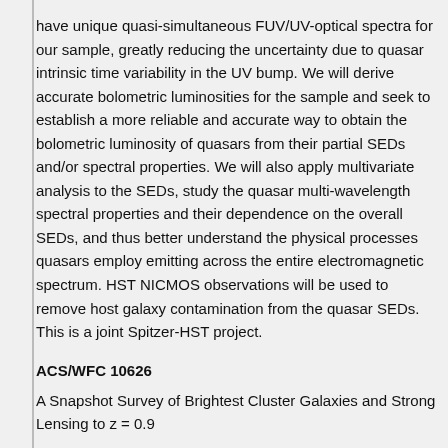have unique quasi-simultaneous FUV/UV-optical spectra for our sample, greatly reducing the uncertainty due to quasar intrinsic time variability in the UV bump. We will derive accurate bolometric luminosities for the sample and seek to establish a more reliable and accurate way to obtain the bolometric luminosity of quasars from their partial SEDs and/or spectral properties. We will also apply multivariate analysis to the SEDs, study the quasar multi-wavelength spectral properties and their dependence on the overall SEDs, and thus better understand the physical processes quasars employ emitting across the entire electromagnetic spectrum. HST NICMOS observations will be used to remove host galaxy contamination from the quasar SEDs. This is a joint Spitzer-HST project.
ACS/WFC 10626
A Snapshot Survey of Brightest Cluster Galaxies and Strong Lensing to z = 0.9
We propose an ACS/WFC snapshot survey of the cores of 150 rich galaxy clusters at 0.3 z 0.9 from the Red Sequence Cluster Survey {RCS}. An examination of the galaxian light in the brightest cluster